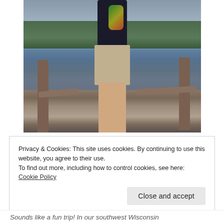[Figure (photo): A person standing on a wooden dock or pier near water. They are wearing a dark t-shirt with a colorful design and khaki shorts. Water and trees are visible in the background.]
Privacy & Cookies: This site uses cookies. By continuing to use this website, you agree to their use.
To find out more, including how to control cookies, see here: Cookie Policy
Close and accept
Sounds like a fun trip! In our southwest Wisconsin